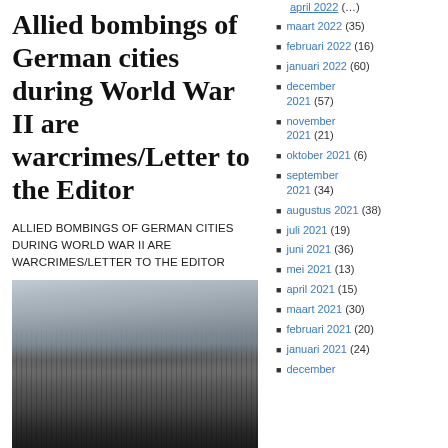Allied bombings of German cities during World War II are warcrimes/Letter to the Editor
ALLIED BOMBINGS OF GERMAN CITIES DURING WORLD WAR II ARE WARCRIMES/LETTER TO THE EDITOR
[Figure (photo): Black and white aerial photograph of a bombed German city during World War II, showing destroyed buildings and ruins across the cityscape]
maart 2022 (35)
februari 2022 (16)
januari 2022 (60)
december 2021 (57)
november 2021 (21)
oktober 2021 (6)
september 2021 (34)
augustus 2021 (38)
juli 2021 (19)
juni 2021 (36)
mei 2021 (13)
april 2021 (15)
maart 2021 (30)
februari 2021 (20)
januari 2021 (24)
december